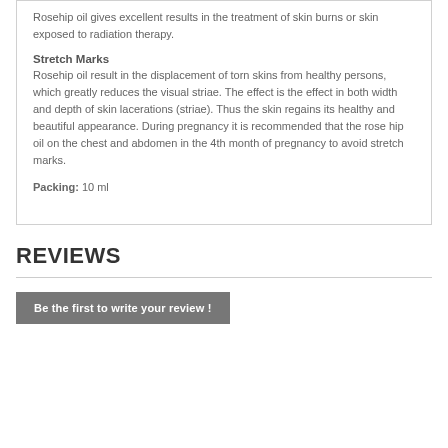Rosehip oil gives excellent results in the treatment of skin burns or skin exposed to radiation therapy.
Stretch Marks
Rosehip oil result in the displacement of torn skins from healthy persons, which greatly reduces the visual striae. The effect is the effect in both width and depth of skin lacerations (striae). Thus the skin regains its healthy and beautiful appearance. During pregnancy it is recommended that the rose hip oil on the chest and abdomen in the 4th month of pregnancy to avoid stretch marks.
Packing: 10 ml
REVIEWS
Be the first to write your review !